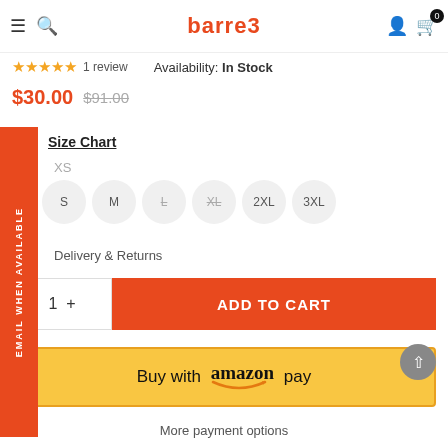GRAPE SIGNATURE LEGGING — barre3 — navigation bar
GRAPE SIGNATURE LEGGING
★★★★★ 1 review   Availability: In Stock
$30.00  $91.00
EMAIL WHEN AVAILABLE
Size Chart
XS
S  M  L  XL  2XL  3XL
Delivery & Returns
1  +  ADD TO CART
Buy with amazon pay
More payment options